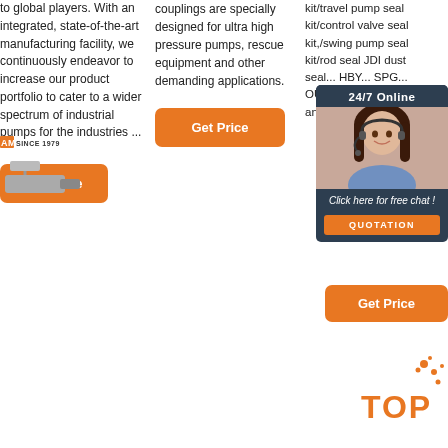to global players. With an integrated, state-of-the-art manufacturing facility, we continuously endeavor to increase our product portfolio to cater to a wider spectrum of industrial pumps for the industries ...
Get Price
couplings are specially designed for ultra high pressure pumps, rescue equipment and other demanding applications.
Get Price
kit/travel pump seal kit/control valve seal kit,/swing pump seal kit/rod seal JDI dust seal... HBY... SPG... OUY... BRT... WR... any... box,...
[Figure (photo): Customer service representative smiling, with 24/7 Online chat overlay, QUOTATION button]
Get Price
[Figure (logo): TOP button with orange dot decoration]
[Figure (logo): AMS since 1979 logo]
[Figure (photo): Pump equipment image at bottom left]